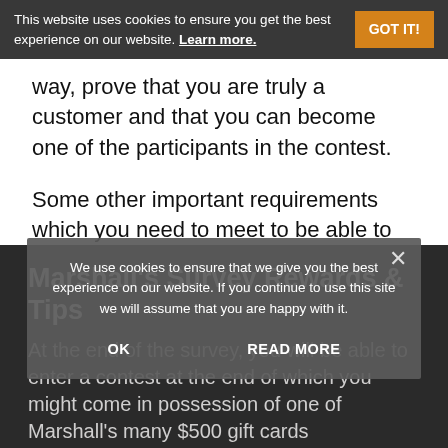This website uses cookies to ensure you get the best experience on our website. Learn more.
way, prove that you are truly a customer and that you can become one of the participants in the contest.
Some other important requirements which you need to meet to be able to proceed are: being a legal US resident, being eighteen years old or above, and not being a Marshall's employee or affiliated in any way with one.
Marshall's Survey Rewards & Tips
We use cookies to ensure that we give you the best experience on our website. If you continue to use this site we will assume that you are happy with it.
At the end of the survey, you will be able to enter a contest at the end of which you might come in possession of one of Marshall's many $500 gift cards